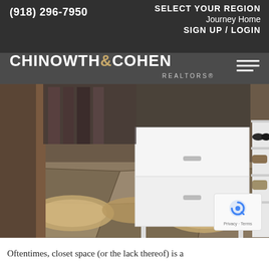(918) 296-7950   SELECT YOUR REGION   Journey Home   SIGN UP / LOGIN
CHINOWTH & COHEN REALTORS
[Figure (photo): Interior closet photo showing stone tile floor with area rugs, white dresser/cabinet, shoe rack with women's heels, and hanging clothes visible in background]
Oftentimes, closet space (or the lack thereof) is a